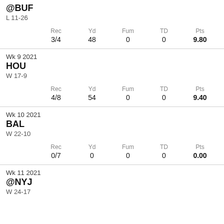@BUF
L 11-26
| Rec | Yd | Fum | TD | Pts |
| --- | --- | --- | --- | --- |
| 3/4 | 48 | 0 | 0 | 9.80 |
Wk 9 2021
HOU
W 17-9
| Rec | Yd | Fum | TD | Pts |
| --- | --- | --- | --- | --- |
| 4/8 | 54 | 0 | 0 | 9.40 |
Wk 10 2021
BAL
W 22-10
| Rec | Yd | Fum | TD | Pts |
| --- | --- | --- | --- | --- |
| 0/7 | 0 | 0 | 0 | 0.00 |
Wk 11 2021
@NYJ
W 24-17